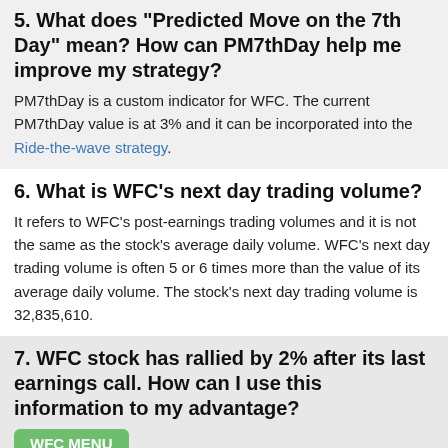5. What does "Predicted Move on the 7th Day" mean? How can PM7thDay help me improve my strategy?
PM7thDay is a custom indicator for WFC. The current PM7thDay value is at 3% and it can be incorporated into the Ride-the-wave strategy.
6. What is WFC's next day trading volume?
It refers to WFC's post-earnings trading volumes and it is not the same as the stock's average daily volume. WFC's next day trading volume is often 5 or 6 times more than the value of its average daily volume. The stock's next day trading volume is 32,835,610.
7. WFC stock has rallied by 2% after its last earnings call. How can I use this information to my advantage?
Keep in mind that a stock tends to be extra sensitive to market news if it rallies by more than 10% after the previous earnings call. Also worth noting is that a 10% decline after the previous earnings call is a strong indicator that the stock has a lot of bearish potential. In this case, the stock will be extra sensitive to good news which means that it will have